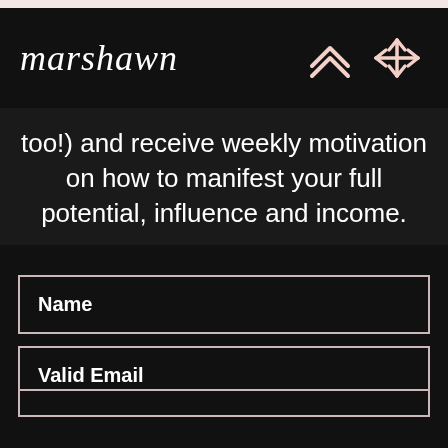marshawn
too!) and receive weekly motivation on how to manifest your full potential, influence and income.
Name
Valid Email